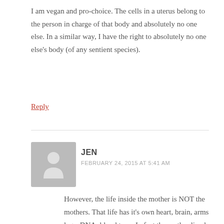I am vegan and pro-choice. The cells in a uterus belong to the person in charge of that body and absolutely no one else. In a similar way, I have the right to absolutely no one else's body (of any sentient species).
Reply
[Figure (illustration): Generic user avatar placeholder icon — grey square with simplified human silhouette]
JEN
FEBRUARY 24, 2015 AT 5:41 AM
However, the life inside the mother is NOT the mothers. That life has it's own heart, brain, arms legs, DNA, blood type. In fact the mother lived complete before the pregnancy and will live complete after the pregnancy. She does not lose a part if her when a child is born.